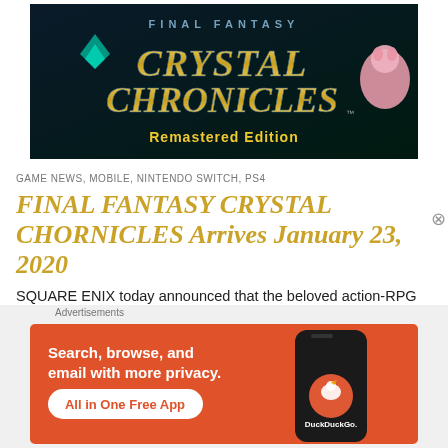[Figure (illustration): Final Fantasy Crystal Chronicles Remastered Edition logo on black background with ornate blue/gold lettering and pink creature]
GAME NEWS, MOBILE, NINTENDO SWITCH, PS4
FINAL FANTASY CRYSTAL CHORNICLES Arrives January 23, 2020
SQUARE ENIX today announced that the beloved action-RPG adventure FINAL FANTASY CRYSTAL CHRONICLES will return with online multiplayer and
Advertisements
[Figure (screenshot): DuckDuckGo advertisement: orange background with text 'Search, browse, and email with more privacy. All in One Free App' and phone mockup with DuckDuckGo logo]